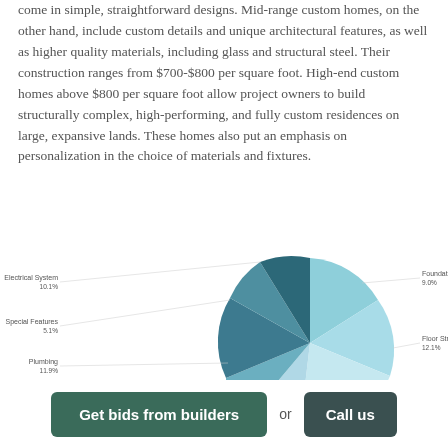come in simple, straightforward designs. Mid-range custom homes, on the other hand, include custom details and unique architectural features, as well as higher quality materials, including glass and structural steel. Their construction ranges from $700-$800 per square foot. High-end custom homes above $800 per square foot allow project owners to build structurally complex, high-performing, and fully custom residences on large, expansive lands. These homes also put an emphasis on personalization in the choice of materials and fixtures.
[Figure (pie-chart): Home Construction Cost Breakdown]
Get bids from builders or Call us